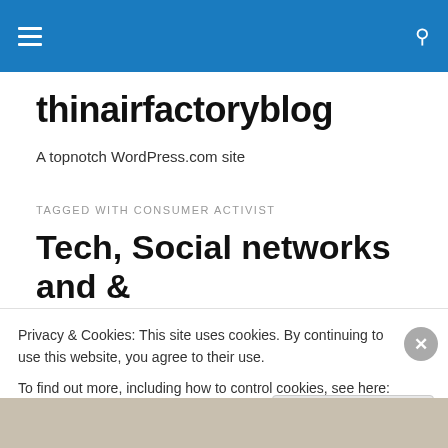thinairfactoryblog navigation bar
thinairfactoryblog
A topnotch WordPress.com site
TAGGED WITH CONSUMER ACTIVIST
Tech, Social networks and & the rise of Inconvenient Desire
Privacy & Cookies: This site uses cookies. By continuing to use this website, you agree to their use.
To find out more, including how to control cookies, see here: Cookie Policy